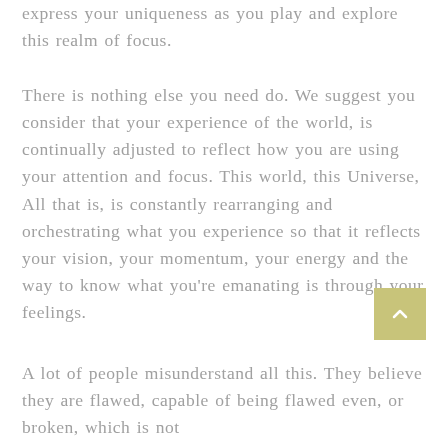express your uniqueness as you play and explore this realm of focus.
There is nothing else you need do. We suggest you consider that your experience of the world, is continually adjusted to reflect how you are using your attention and focus. This world, this Universe, All that is, is constantly rearranging and orchestrating what you experience so that it reflects your vision, your momentum, your energy and the way to know what you're emanating is through your feelings.
A lot of people misunderstand all this. They believe they are flawed, capable of being flawed even, or broken, which is not